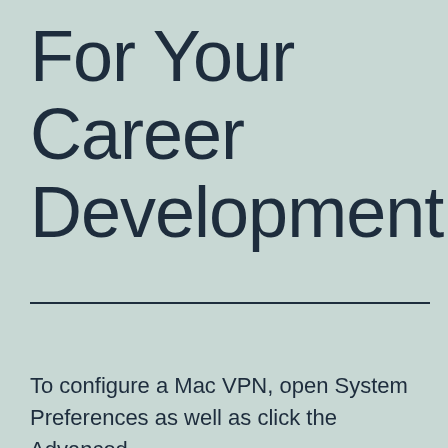For Your Career Development
To configure a Mac VPN, open System Preferences as well as click the Advanced ...